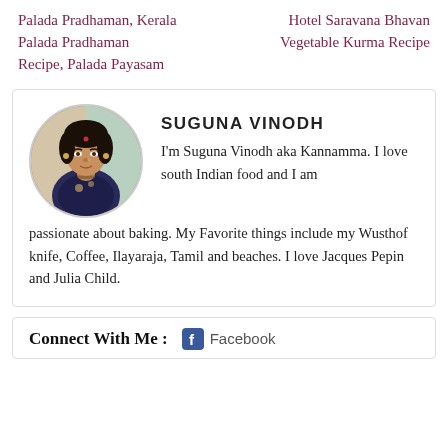Palada Pradhaman, Kerala Palada Pradhaman Recipe, Palada Payasam
Hotel Saravana Bhavan Vegetable Kurma Recipe
SUGUNA VINODH
I'm Suguna Vinodh aka Kannamma. I love south Indian food and I am passionate about baking. My Favorite things include my Wusthof knife, Coffee, Ilayaraja, Tamil and beaches. I love Jacques Pepin and Julia Child.
Connect With Me : Facebook